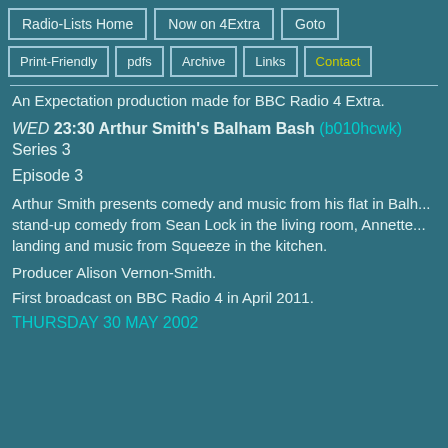Radio-Lists Home | Now on 4Extra | Goto | Print-Friendly | pdfs | Archive | Links | Contact
An Expectation production made for BBC Radio 4 Extra.
WED 23:30 Arthur Smith's Balham Bash (b010hcwk) Series 3
Episode 3
Arthur Smith presents comedy and music from his flat in Balham, stand-up comedy from Sean Lock in the living room, Annette on the landing and music from Squeeze in the kitchen.
Producer Alison Vernon-Smith.
First broadcast on BBC Radio 4 in April 2011.
THURSDAY 30 MAY 2002